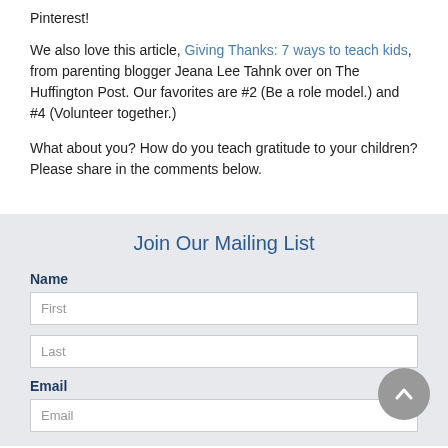Pinterest!
We also love this article, Giving Thanks: 7 ways to teach kids, from parenting blogger Jeana Lee Tahnk over on The Huffington Post. Our favorites are #2 (Be a role model.) and #4 (Volunteer together.)
What about you? How do you teach gratitude to your children? Please share in the comments below.
Join Our Mailing List
Name
First
Last
Email
Email